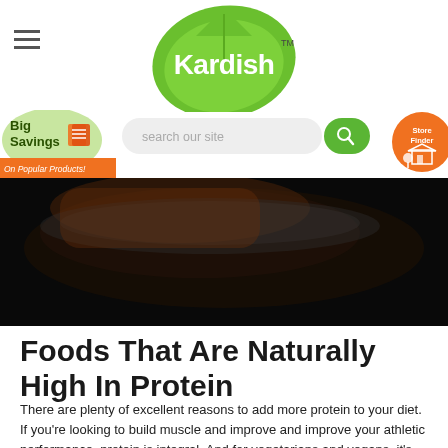[Figure (logo): Kardish Health Food Centre logo – green leaf shape with 'Kardish' text and TM mark]
[Figure (infographic): Big Savings on Popular Products badge with coupons icon]
[Figure (screenshot): Search bar with 'search our site' placeholder and green search button]
[Figure (infographic): Store Finder orange circle button with store icon]
[Figure (photo): Dark hero image showing a bowl of food with warm orange and dark tones]
Foods That Are Naturally High In Protein
There are plenty of excellent reasons to add more protein to your diet. If you're looking to build muscle and improve and improve your athletic performance, protein is integral. And for vegetarians and vegans, it's important to keep an eye on protein consumption, ensuring that it reaches a little and